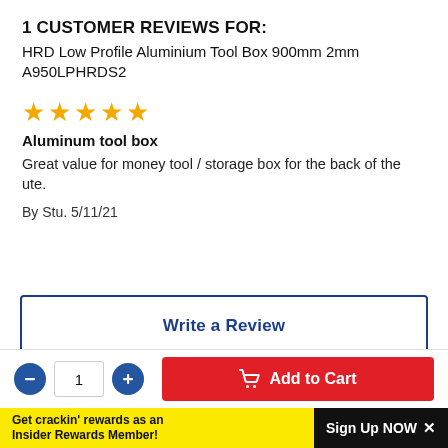1 CUSTOMER REVIEWS FOR:
HRD Low Profile Aluminium Tool Box 900mm 2mm A950LPHRDS2
[Figure (other): 5 gold star rating icons]
Aluminum tool box
Great value for money tool / storage box for the back of the ute.
By Stu. 5/11/21
Write a Review
[Figure (other): Scroll to top button with upward arrow]
1
Add to Cart
Get crackin' rewards as an Insider Rewards Member!
Sign Up NOW ×